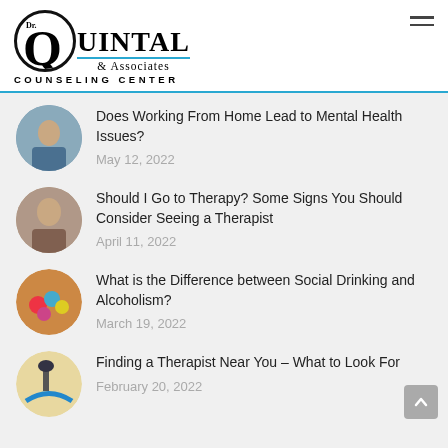[Figure (logo): Dr. Quintal & Associates Counseling Center logo with circular Q emblem and teal underline]
Does Working From Home Lead to Mental Health Issues?
May 12, 2022
Should I Go to Therapy? Some Signs You Should Consider Seeing a Therapist
April 11, 2022
What is the Difference between Social Drinking and Alcoholism?
March 19, 2022
Finding a Therapist Near You – What to Look For
February 20, 2022